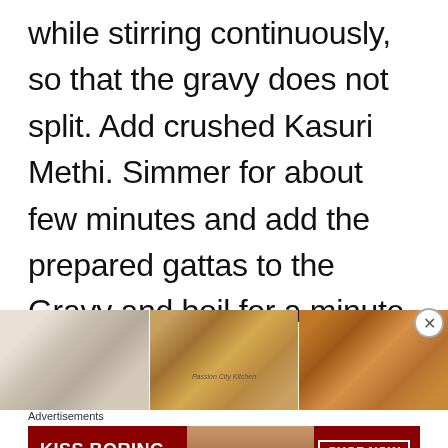while stirring continuously, so that the gravy does not split. Add crushed Kasuri Methi. Simmer for about few minutes and add the prepared gattas to the Gravy and boil for a minute or two..
[Figure (photo): Three food photos side by side: a bowl of white liquid/cream, a dish of gattas curry, and a close-up of curry]
Advertisements
[Figure (photo): Macy's advertisement banner: KISS BORING LIPS GOODBYE with a woman's face and red lips, SHOP NOW button and Macy's star logo on dark red background]